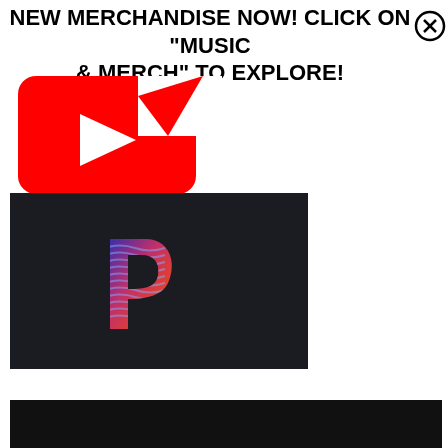NEW MERCHANDISE NOW! CLICK ON "MUSIC & MERCH" TO EXPLORE!
[Figure (logo): YouTube logo - red rounded rectangle with white play arrow, partially cropped, with red diagonal arrow overlay]
[Figure (logo): Pandora logo - stylized colorful P letter with wavy red/blue gradient texture on dark background]
[Figure (screenshot): Black bar at bottom of page, partially visible]